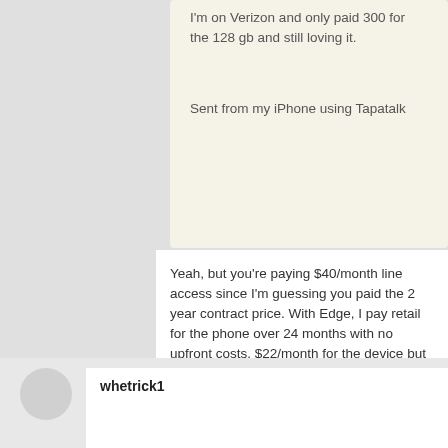I'm on Verizon and only paid 300 for the 128 gb and still loving it.

Sent from my iPhone using Tapatalk
Yeah, but you're paying $40/month line access since I'm guessing you paid the 2 year contract price. With Edge, I pay retail for the phone over 24 months with no upfront costs. $22/month for the device but then get a $25/month credit for that edge line of service. So you paid $300 more upfront and $3 more per month. $372 total more.
05-14-2015 11:10 PM
whetrick1